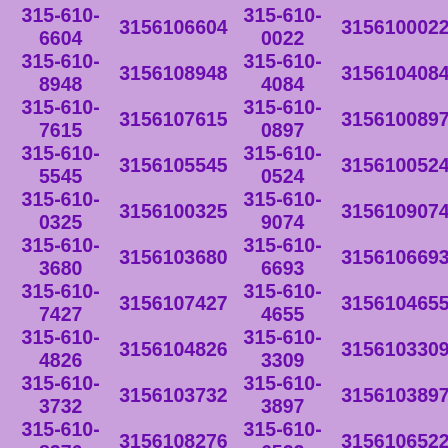315-610-6604 3156106604 315-610-0022 3156100022 315-610-8948 3156108948 315-610-4084 3156104084 315-610-7615 3156107615 315-610-0897 3156100897 315-610-5545 3156105545 315-610-0524 3156100524 315-610-0325 3156100325 315-610-9074 3156109074 315-610-3680 3156103680 315-610-6693 3156106693 315-610-7427 3156107427 315-610-4655 3156104655 315-610-4826 3156104826 315-610-3309 3156103309 315-610-3732 3156103732 315-610-3897 3156103897 315-610-8276 3156108276 315-610-6522 3156106522 315-610-1497 3156101497 315-610-5527 3156105527 315-610-8346 3156108346 315-610-2165 3156102165 315-610-7738 3156107738 315-610-9280 3156109280 315-610-7531 3156107531 315-610-4033 3156104033 315-610-8859 3156108859 315-610-2320 3156102320 315-610-1911 3156101911 315-610-8198 3156108198 315-610-1460 3156101460 315-610-3526 3156103526 315-610-5651 3156105651 315-610-1932 3156101932 315-610-2630 3156102630 315-610-0072 3156100072 315-610-4934 3156104934 315-610-1158 3156101158 315-610-6499 3156106499 315-610-2034 3156102034